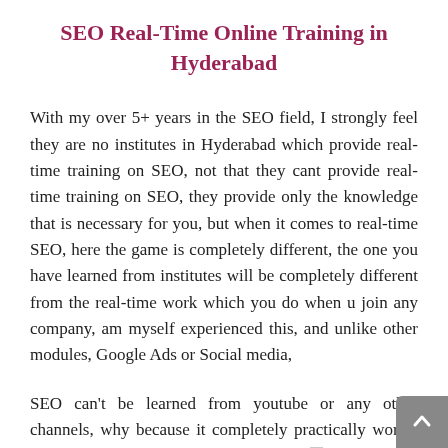SEO Real-Time Online Training in Hyderabad
With my over 5+ years in the SEO field, I strongly feel they are no institutes in Hyderabad which provide real-time training on SEO, not that they cant provide real-time training on SEO, they provide only the knowledge that is necessary for you, but when it comes to real-time SEO, here the game is completely different, the one you have learned from institutes will be completely different from the real-time work which you do when u join any company, am myself experienced this, and unlike other modules, Google Ads or Social media,
SEO can't be learned from youtube or any other channels, why because it completely practically works, thankfully SEOsiddhi offers you complete